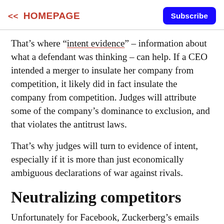<< HOMEPAGE  Subscribe
That's where “intent evidence” – information about what a defendant was thinking – can help. If a CEO intended a merger to insulate her company from competition, it likely did in fact insulate the company from competition. Judges will attribute some of the company’s dominance to exclusion, and that violates the antitrust laws.
That’s why judges will turn to evidence of intent, especially if it is more than just economically ambiguous declarations of war against rivals.
Neutralizing competitors
Unfortunately for Facebook, Zuckerberg’s emails